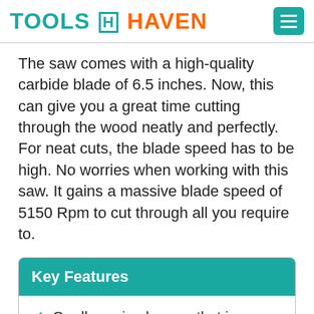TOOLS HAVEN
The saw comes with a high-quality carbide blade of 6.5 inches. Now, this can give you a great time cutting through the wood neatly and perfectly. For neat cuts, the blade speed has to be high. No worries when working with this saw. It gains a massive blade speed of 5150 Rpm to cut through all you require to.
Key Features
Cordless circular saw that is powered by 20 V